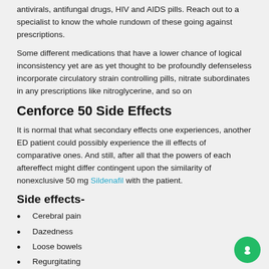antivirals, antifungal drugs, HIV and AIDS pills. Reach out to a specialist to know the whole rundown of these going against prescriptions.
Some different medications that have a lower chance of logical inconsistency yet are as yet thought to be profoundly defenseless incorporate circulatory strain controlling pills, nitrate subordinates in any prescriptions like nitroglycerine, and so on
Cenforce 50 Side Effects
It is normal that what secondary effects one experiences, another ED patient could possibly experience the ill effects of comparative ones. And still, after all that the powers of each aftereffect might differ contingent upon the similarity of nonexclusive 50 mg Sildenafil with the patient.
Side effects-
Cerebral pain
Dazedness
Loose bowels
Regurgitating